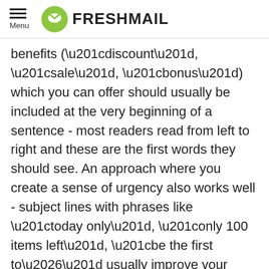Menu | FRESHMAIL
benefits (“discount”, “sale”, “bonus”) which you can offer should usually be included at the very beginning of a sentence - most readers read from left to right and these are the first words they should see. An approach where you create a sense of urgency also works well - subject lines with phrases like “today only”, “only 100 items left”, “be the first to…” usually improve your open rate.
Are you using the right images?